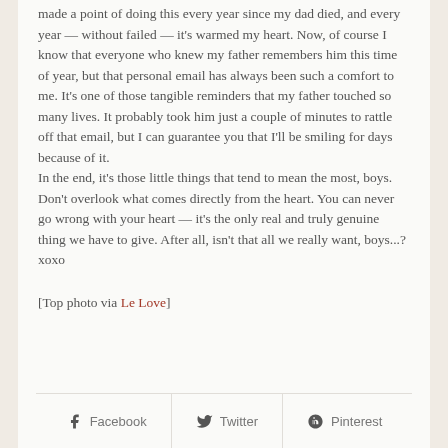made a point of doing this every year since my dad died, and every year — without failed — it's warmed my heart. Now, of course I know that everyone who knew my father remembers him this time of year, but that personal email has always been such a comfort to me. It's one of those tangible reminders that my father touched so many lives. It probably took him just a couple of minutes to rattle off that email, but I can guarantee you that I'll be smiling for days because of it.
In the end, it's those little things that tend to mean the most, boys. Don't overlook what comes directly from the heart. You can never go wrong with your heart — it's the only real and truly genuine thing we have to give. After all, isn't that all we really want, boys...? xoxo
[Top photo via Le Love]
Facebook  Twitter  Pinterest